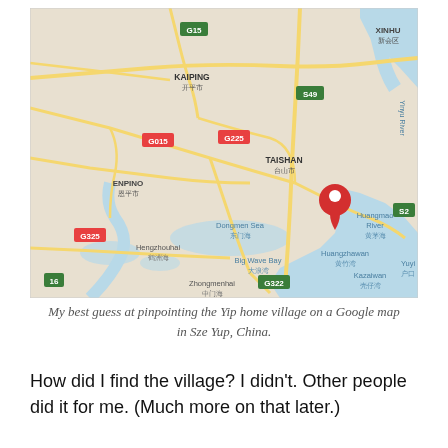[Figure (map): Google map screenshot showing a region in Sze Yup, China with a red location pin marker. Map shows cities including Kaiping, Taishan, Enpino, Hengzhouhai, Dongmen Sea, Big Wave Bay, Huangzhawan, Kazaiwan, Xinhu, and Huangmao River. Road/highway markers include G15, G15, S49, G225, G015, G325, G322, S2. A red pin is placed in the area between Taishan and the coast.]
My best guess at pinpointing the Yip home village on a Google map in Sze Yup, China.
How did I find the village? I didn't. Other people did it for me. (Much more on that later.)